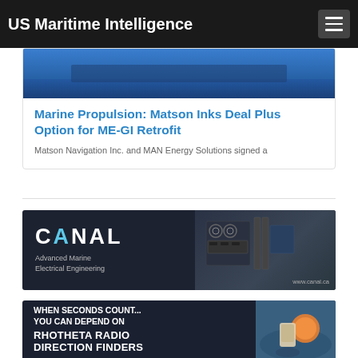US Maritime Intelligence
[Figure (photo): Marine vessel photo, blue ocean tones]
Marine Propulsion: Matson Inks Deal Plus Option for ME-GI Retrofit
Matson Navigation Inc. and MAN Energy Solutions signed a
[Figure (other): CANAL Advanced Marine Electrical Engineering advertisement banner, www.canal.ca]
[Figure (other): When Seconds Count... You Can Depend On RHOTHETA RADIO DIRECTION FINDERS advertisement banner]